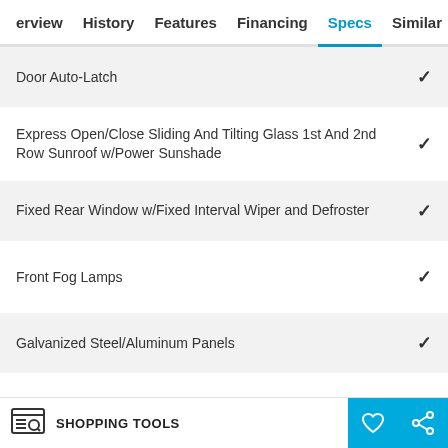erview  History  Features  Financing  Specs  Similar
Door Auto-Latch ✓
Express Open/Close Sliding And Tilting Glass 1st And 2nd Row Sunroof w/Power Sunshade ✓
Fixed Rear Window w/Fixed Interval Wiper and Defroster ✓
Front Fog Lamps ✓
Galvanized Steel/Aluminum Panels ✓
Headlights-Automatic Highbeams ✓
SHOPPING TOOLS